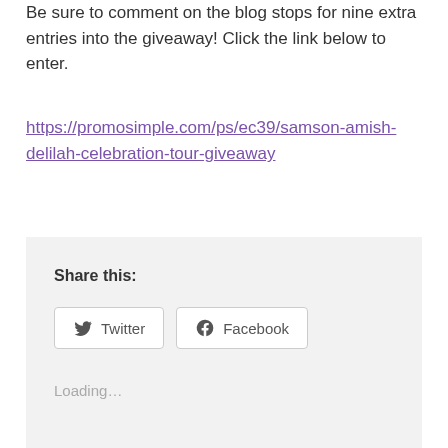Be sure to comment on the blog stops for nine extra entries into the giveaway! Click the link below to enter.
https://promosimple.com/ps/ec39/samson-amish-delilah-celebration-tour-giveaway
Share this:
Twitter  Facebook
Loading…